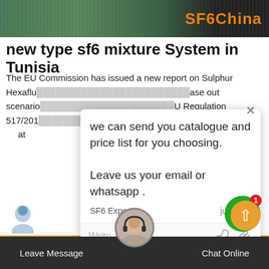SF6China
new type sf6 mixture System in Tunisia
The EU Commission has issued a new report on Sulphur Hexaflu... ase out scenario... U Regulation 517/201... able at...
[Figure (screenshot): Chat popup overlay with message: 'we can send you catalogue and price list for you choosing. Leave us your email or whatsapp.' Sender: SF6 Expert, just now. Reply input box with thumbs up and paperclip icons.]
[Figure (photo): Transmission tower / power lines photo background]
Get Price
Write a reply..
Leave Message    Chat Online